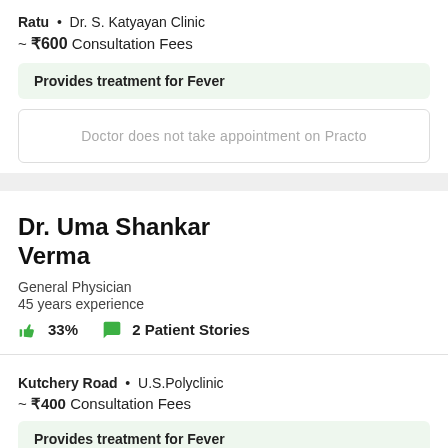Ratu • Dr. S. Katyayan Clinic
~ ₹600 Consultation Fees
Provides treatment for Fever
Doctor does not take appointment on Practo
Dr. Uma Shankar Verma
General Physician
45 years experience
33% 2 Patient Stories
Kutchery Road • U.S.Polyclinic
~ ₹400 Consultation Fees
Provides treatment for Fever